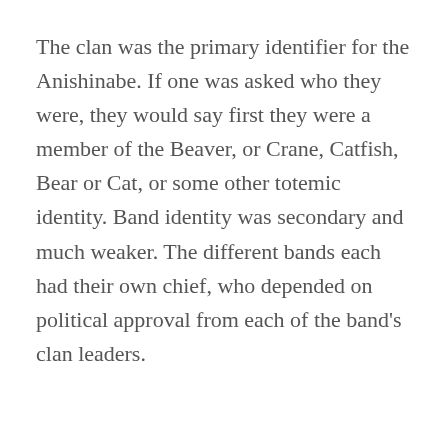The clan was the primary identifier for the Anishinabe. If one was asked who they were, they would say first they were a member of the Beaver, or Crane, Catfish, Bear or Cat, or some other totemic identity. Band identity was secondary and much weaker. The different bands each had their own chief, who depended on political approval from each of the band's clan leaders.